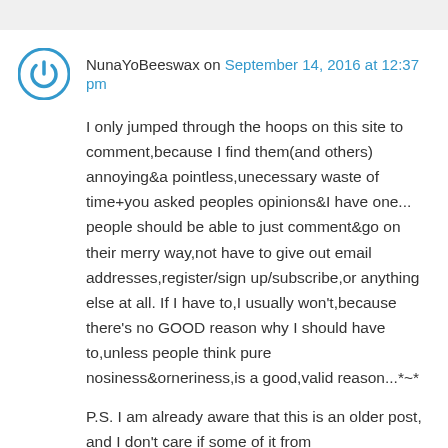NunaYoBeeswax on September 14, 2016 at 12:37 pm
I only jumped through the hoops on this site to comment,because I find them(and others) annoying&a pointless,unecessary waste of time+you asked peoples opinions&I have one... people should be able to just comment&go on their merry way,not have to give out email addresses,register/sign up/subscribe,or anything else at all. If I have to,I usually won't,because there's no GOOD reason why I should have to,unless people think pure nosiness&orneriness,is a good,valid reason...*~*
P.S. I am already aware that this is an older post, and I don't care if some of it from